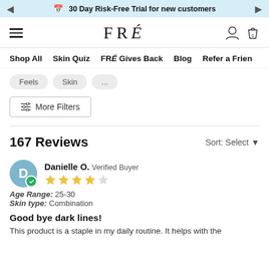30 Day Risk-Free Trial for new customers
FRÉ
Shop All  Skin Quiz  FRÉ Gives Back  Blog  Refer a Friend
Feels
Skin
...
More Filters
167 Reviews
Sort: Select
Danielle O. Verified Buyer — 5 stars
Age Range: 25-30
Skin type: Combination
Good bye dark lines!
This product is a staple in my daily routine. It helps with the